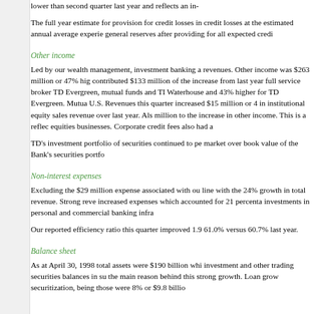lower than second quarter last year and reflects an in-
The full year estimate for provision for credit losses in credit losses at the estimated annual average experie general reserves after providing for all expected credi
Other income
Led by our wealth management, investment banking a revenues. Other income was $263 million or 47% hig contributed $133 million of the increase from last year full service broker TD Evergreen, mutual funds and TI Waterhouse and 43% higher for TD Evergreen. Mutua U.S. Revenues this quarter increased $15 million or 4 in institutional equity sales revenue over last year. Als million to the increase in other income. This is a reflec equities businesses. Corporate credit fees also had a
TD's investment portfolio of securities continued to pe market over book value of the Bank's securities portfo
Non-interest expenses
Excluding the $29 million expense associated with ou line with the 24% growth in total revenue. Strong reve increased expenses which accounted for 21 percenta investments in personal and commercial banking infra
Our reported efficiency ratio this quarter improved 1.9 61.0% versus 60.7% last year.
Balance sheet
As at April 30, 1998 total assets were $190 billion whi investment and other trading securities balances in su the main reason behind this strong growth. Loan grow securitization, being those were 8% or $9.8 billio